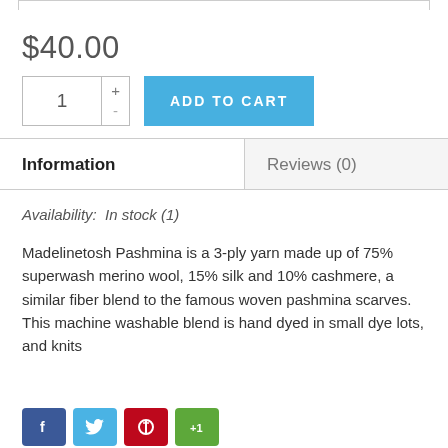$40.00
[Figure (screenshot): Quantity input box with plus and minus buttons, and blue ADD TO CART button]
Information
Reviews (0)
Availability: In stock (1)
Madelinetosh Pashmina is a 3-ply yarn made up of 75% superwash merino wool, 15% silk and 10% cashmere, a similar fiber blend to the famous woven pashmina scarves. This machine washable blend is hand dyed in small dye lots, and knits
[Figure (screenshot): Social media sharing buttons: Facebook (blue), Twitter (light blue), Pinterest (red), Google+ (green)]